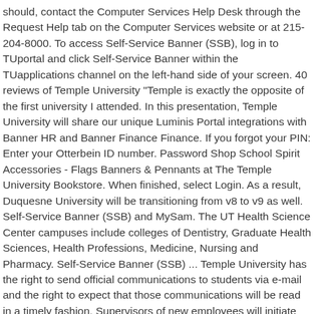should, contact the Computer Services Help Desk through the Request Help tab on the Computer Services website or at 215-204-8000. To access Self-Service Banner (SSB), log in to TUportal and click Self-Service Banner within the TUapplications channel on the left-hand side of your screen. 40 reviews of Temple University "Temple is exactly the opposite of the first university I attended. In this presentation, Temple University will share our unique Luminis Portal integrations with Banner HR and Banner Finance Finance. If you forgot your PIN: Enter your Otterbein ID number. Password Shop School Spirit Accessories - Flags Banners & Pennants at The Temple University Bookstore. When finished, select Login. As a result, Duquesne University will be transitioning from v8 to v9 as well. Self-Service Banner (SSB) and MySam. The UT Health Science Center campuses include colleges of Dentistry, Graduate Health Sciences, Health Professions, Medicine, Nursing and Pharmacy. Self-Service Banner (SSB) ... Temple University has the right to send official communications to students via e-mail and the right to expect that those communications will be read in a timely fashion. Supervisors of new employees will initiate the access process. © 2013-2020 Ellucian Company L.P. and its affiliates. Welcome to the Eastern New Mexico University Self-Service Banner system! If you are a student, your A